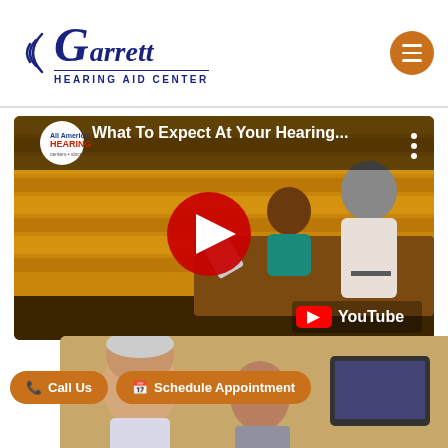[Figure (logo): Garrett Hearing Aid Center logo with stylized G and sound waves, dark blue text]
[Figure (screenshot): YouTube video thumbnail titled 'What To Expect At Your Hearing...' showing illustrated characters at a reception desk with a red play button]
[Figure (photo): Partial photo of elderly people, likely in a medical/hearing aid consultation setting]
Call Us
Schedule Appointment